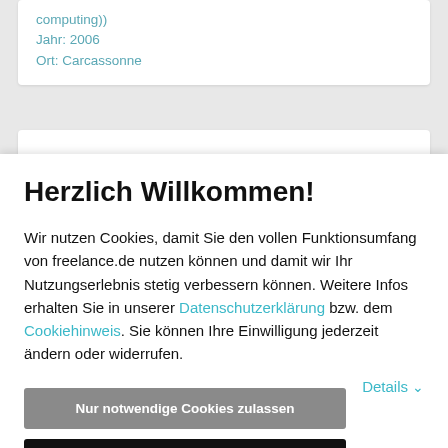computing))
Jahr: 2006
Ort: Carcassonne
Herzlich Willkommen!
Wir nutzen Cookies, damit Sie den vollen Funktionsumfang von freelance.de nutzen können und damit wir Ihr Nutzungserlebnis stetig verbessern können. Weitere Infos erhalten Sie in unserer Datenschutzerklärung bzw. dem Cookiehinweis. Sie können Ihre Einwilligung jederzeit ändern oder widerrufen.
Nur notwendige Cookies zulassen
Cookies akzeptieren
Details
maintained / modified. Quickly masters new